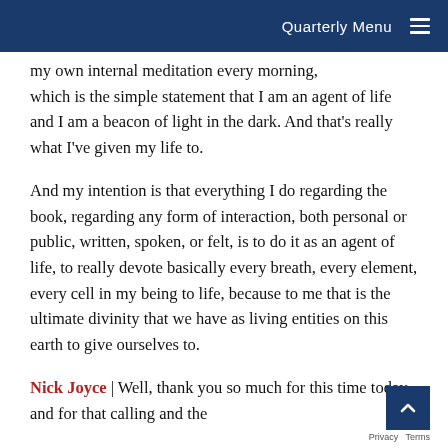Quarterly Menu
my own internal meditation every morning, which is the simple statement that I am an agent of life and I am a beacon of light in the dark. And that's really what I've given my life to.
And my intention is that everything I do regarding the book, regarding any form of interaction, both personal or public, written, spoken, or felt, is to do it as an agent of life, to really devote basically every breath, every element, every cell in my being to life, because to me that is the ultimate divinity that we have as living entities on this earth to give ourselves to.
Nick Joyce | Well, thank you so much for this time today and for that calling and the